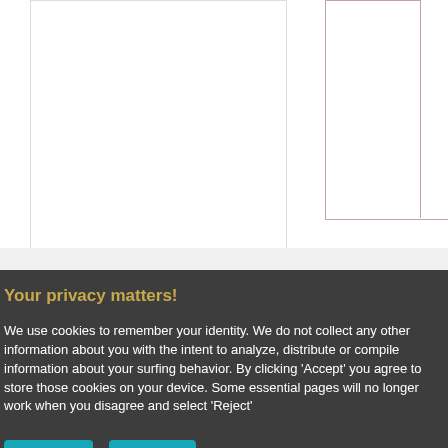[Figure (illustration): Embroidery design showing a yellow flower with orange center, green leaves and stem, and a small purple flower, on a white background with a pink/mauve border. Partially cropped on left and right.]
5017 Critters i
⊞ Top of Page
⊞ Contact Us
⊞ Links
⊞ Policies
⊞ Hatched Forum
Your privacy matters!
We use cookies to remember your identity. We do not collect any other information about you with the intent to analyze, distribute or compile information about your surfing behavior. By clicking 'Accept' you agree to store those cookies on your device. Some essential pages will no longer work when you disagree and select 'Reject'
Reject
Agree